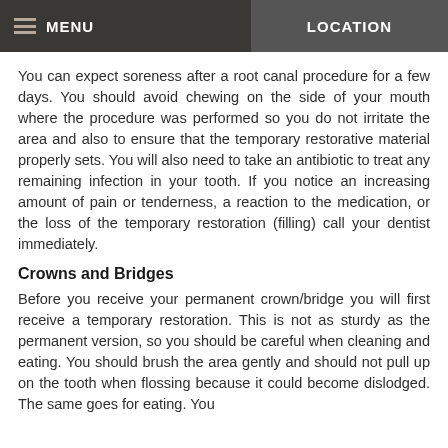MENU   LOCATION
You can expect soreness after a root canal procedure for a few days. You should avoid chewing on the side of your mouth where the procedure was performed so you do not irritate the area and also to ensure that the temporary restorative material properly sets. You will also need to take an antibiotic to treat any remaining infection in your tooth. If you notice an increasing amount of pain or tenderness, a reaction to the medication, or the loss of the temporary restoration (filling) call your dentist immediately.
Crowns and Bridges
Before you receive your permanent crown/bridge you will first receive a temporary restoration. This is not as sturdy as the permanent version, so you should be careful when cleaning and eating. You should brush the area gently and should not pull up on the tooth when flossing because it could become dislodged. The same goes for eating. You